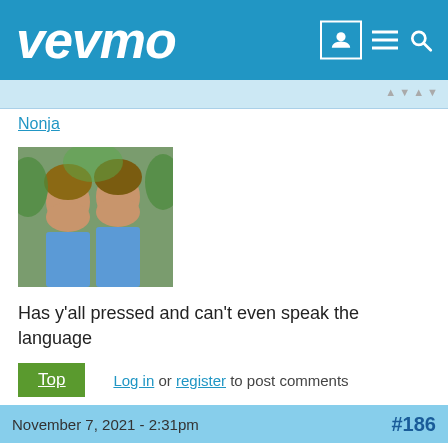vevmo
Nonja
[Figure (photo): Profile photo of two women smiling outdoors]
Has y'all pressed and can't even speak the language
Top  Log in or register to post comments
November 7, 2021 - 2:31pm   #186
abbya
[Figure (photo): Default grey avatar placeholder]